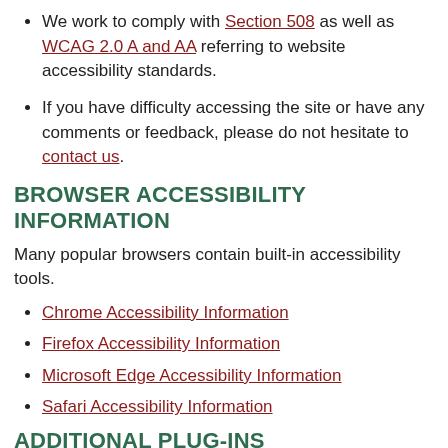We work to comply with Section 508 as well as WCAG 2.0 A and AA referring to website accessibility standards.
If you have difficulty accessing the site or have any comments or feedback, please do not hesitate to contact us.
BROWSER ACCESSIBILITY INFORMATION
Many popular browsers contain built-in accessibility tools.
Chrome Accessibility Information
Firefox Accessibility Information
Microsoft Edge Accessibility Information
Safari Accessibility Information
ADDITIONAL PLUG-INS
Adobe Reader is required to view and print PDF documents that appear on this website.